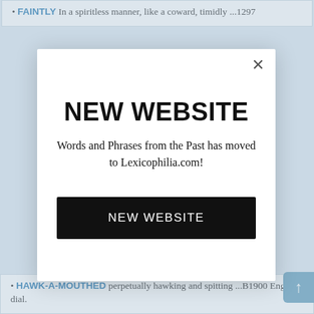• FAINTLY In a spiritless manner, like a coward, timidly ...1297
NEW WEBSITE
Words and Phrases from the Past has moved to Lexicophilia.com!
NEW WEBSITE
• HAWK-A-MOUTHED perpetually hawking and spitting ...B1900 Eng. dial.